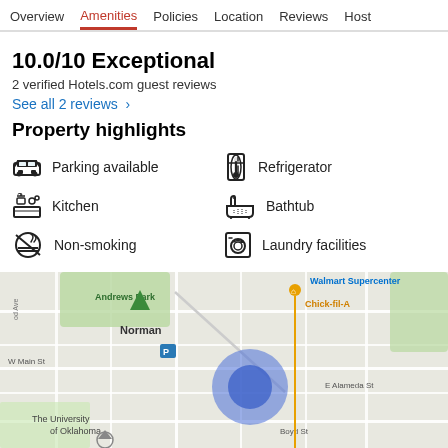Overview  Amenities  Policies  Location  Reviews  Host
10.0/10 Exceptional
2 verified Hotels.com guest reviews
See all 2 reviews  ›
Property highlights
Parking available
Refrigerator
Kitchen
Bathtub
Non-smoking
Laundry facilities
[Figure (map): Street map of Norman, Oklahoma area showing Andrews Park, Walmart Supercenter, Chick-fil-A, W Main St, E Alameda St, Boyd St, The University of Oklahoma, with a blue circle marker indicating the property location.]